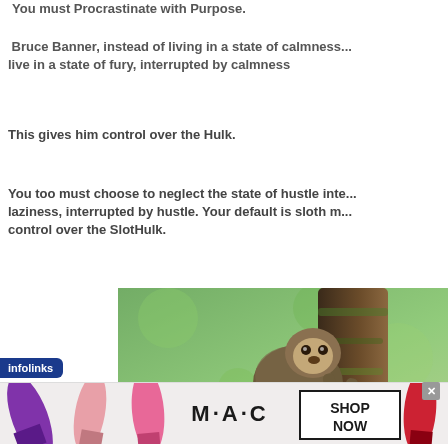You must Procrastinate with Purpose.
Bruce Banner, instead of living in a state of calmness... live in a state of fury, interrupted by calmness
This gives him control over the Hulk.
You too must choose to neglect the state of hustle inte... laziness, interrupted by hustle. Your default is sloth m... control over the SlotHulk.
[Figure (photo): A sloth clinging to a tree trunk with a green blurred background and a red circular object visible]
infolinks
[Figure (photo): MAC Cosmetics advertisement banner showing lipsticks in purple, pink, and red colors with MAC logo and SHOP NOW button]